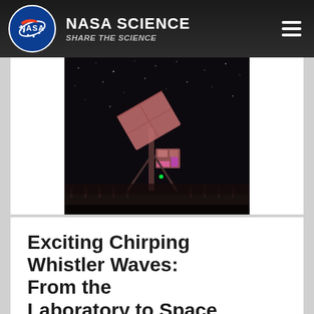NASA SCIENCE — SHARE THE SCIENCE
[Figure (photo): Nighttime photograph of a large antenna or satellite dish structure lit with pink/red lighting against a dark starry sky]
Exciting Chirping Whistler Waves: From the Laboratory to Space